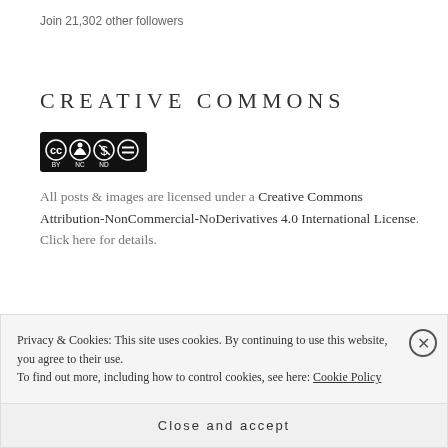Join 21,302 other followers
CREATIVE COMMONS
[Figure (logo): Creative Commons BY NC ND license badge — black rectangle with CC, person, dollar-sign-crossed, and equals icons with BY NC ND text below]
All posts & images are licensed under a Creative Commons Attribution-NonCommercial-NoDerivatives 4.0 International License. Click here for details.
Privacy & Cookies: This site uses cookies. By continuing to use this website, you agree to their use.
To find out more, including how to control cookies, see here: Cookie Policy
Close and accept